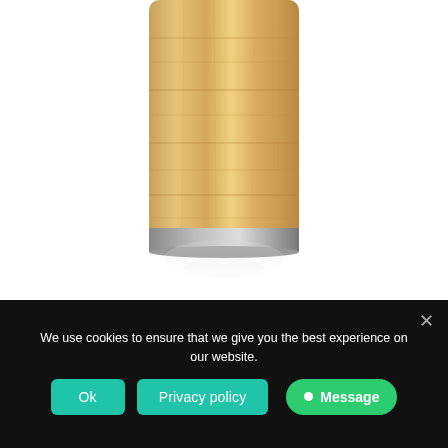[Figure (photo): Close-up photo of a bamboo travel mug with a stainless steel base, showing the warm wood grain texture of the bamboo body and a silver/steel bottom ring, with a faint reflection below on a white background.]
Bamboo Travel Mug
We use cookies to ensure that we give you the best experience on our website.